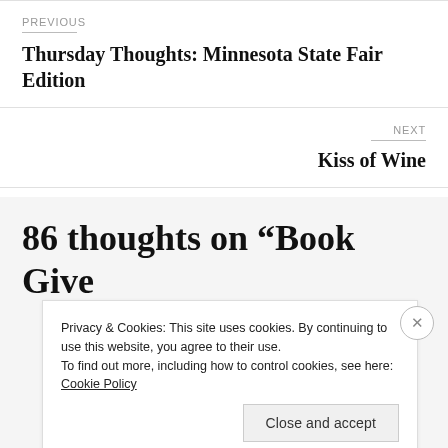PREVIOUS
Thursday Thoughts: Minnesota State Fair Edition
NEXT
Kiss of Wine
86 thoughts on “Book Give
Privacy & Cookies: This site uses cookies. By continuing to use this website, you agree to their use.
To find out more, including how to control cookies, see here: Cookie Policy
Close and accept